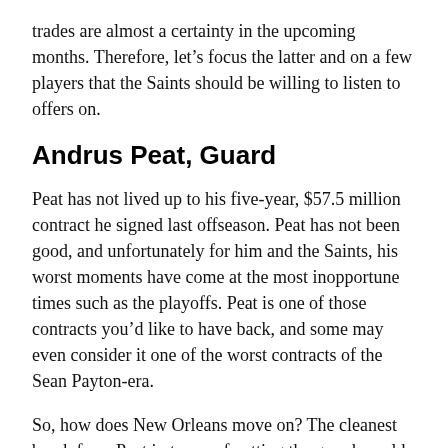trades are almost a certainty in the upcoming months. Therefore, let’s focus the latter and on a few players that the Saints should be willing to listen to offers on.
Andrus Peat, Guard
Peat has not lived up to his five-year, $57.5 million contract he signed last offseason. Peat has not been good, and unfortunately for him and the Saints, his worst moments have come at the most inopportune times such as the playoffs. Peat is one of those contracts you’d like to have back, and some may even consider it one of the worst contracts of the Sean Payton-era.
So, how does New Orleans move on? The cleanest break from Peat in terms of cutting the guard would come in 2023, that’s two more seasons rolling with the